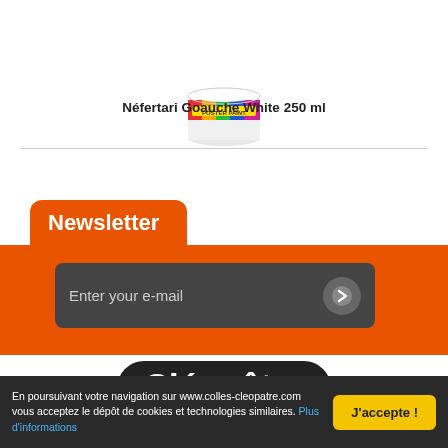[Figure (photo): White paint pot with colorful label showing 'POSTER PAINT', cropped at top of image]
Néfertari Goauche White 250 ml
Newsletter
Enter your e-mail
[Figure (logo): Cléopâtre brand logo in white bold rounded text on dark rounded rectangle background]
En poursuivant votre navigation sur www.colles-cleopatre.com vous acceptez le dépôt de cookies et technologies similaires. Plus d'informations
J'accepte !